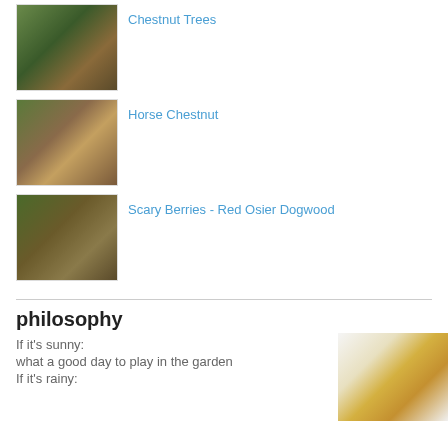Chestnut Trees
Horse Chestnut
Scary Berries - Red Osier Dogwood
philosophy
If it's sunny:
what a good day to play in the garden
If it's rainy:
[Figure (photo): Close-up photo of a daisy flower with white petals and yellow center]